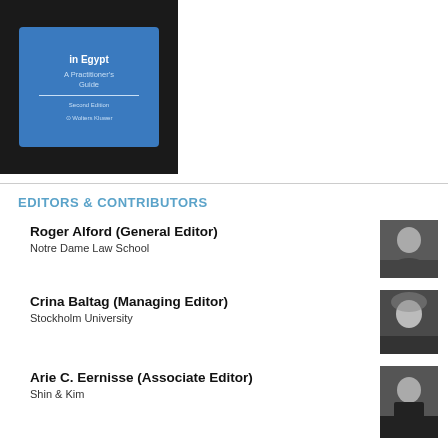[Figure (illustration): Book cover for a legal publication about arbitration in Egypt, A Practitioner's Guide, published by Wolters Kluwer. Blue cover with white and light blue text.]
EDITORS & CONTRIBUTORS
Roger Alford (General Editor)
Notre Dame Law School
[Figure (photo): Black and white headshot of Roger Alford]
Crina Baltag (Managing Editor)
Stockholm University
[Figure (photo): Black and white headshot of Crina Baltag]
Arie C. Eernisse (Associate Editor)
Shin & Kim
[Figure (photo): Black and white headshot of Arie C. Eernisse]
Kiran Nasir Gore (Associate Editor)
The George Washington University Law School
[Figure (photo): Black and white headshot of Kiran Nasir Gore]